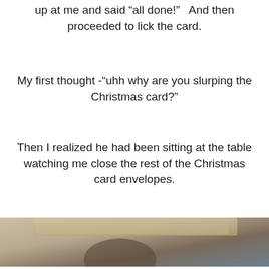up at me and said “all done!”   And then proceeded to lick the card.
My first thought -“uhh why are you slurping the Christmas card?”
Then I realized he had been sitting at the table watching me close the rest of the Christmas card envelopes.
He must have thought that is what you do!   Monkey see, monkey do.
This is life with a toddler!
[Figure (photo): Bottom portion of a photo showing what appears to be a toddler at a table, partially cropped]